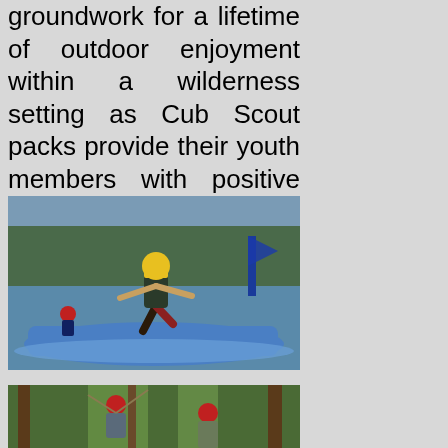groundwork for a lifetime of outdoor enjoyment within a wilderness setting as Cub Scout packs provide their youth members with positive outdoor experiences locally.
[Figure (photo): A child wearing a yellow helmet jumping on a blue inflatable mat on a lake, with other water activities visible in the background.]
[Figure (photo): Two children wearing red helmets in a forested area, appearing to be engaged in a ropes course or climbing activity among trees.]